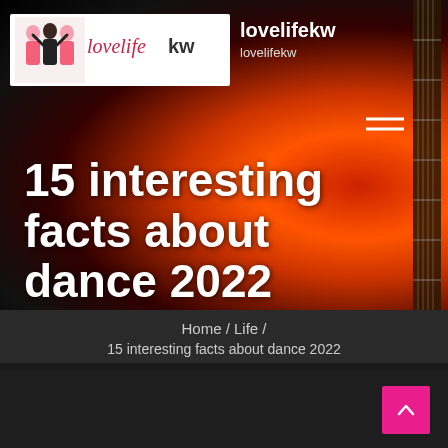[Figure (screenshot): Website header screenshot for lovelifekw blog showing logo banner with illustrated women in pink, site name 'lovelifekw', hamburger menu, and decorative fire/guitar background]
lovelifekw
lovelifekw
15 interesting facts about dance 2022
Home / Life /
15 interesting facts about dance 2022